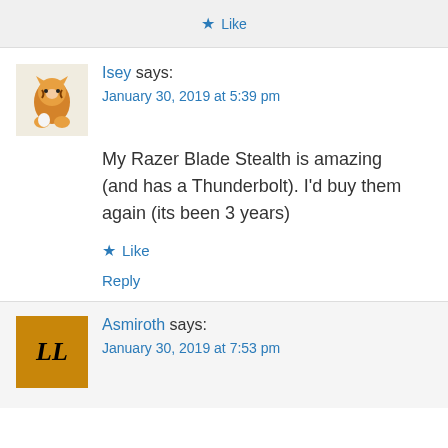★ Like
Isey says:
January 30, 2019 at 5:39 pm
My Razer Blade Stealth is amazing (and has a Thunderbolt). I'd buy them again (its been 3 years)
★ Like
Reply
Asmiroth says:
January 30, 2019 at 7:53 pm